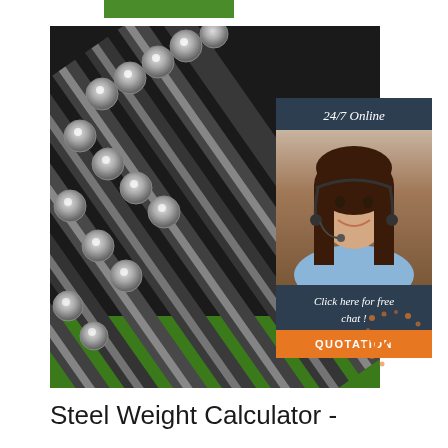[Figure (photo): Green decorative bar at top of page]
[Figure (photo): Photo of bundled steel rods/bars stacked diagonally with shiny circular ends visible, on a green surface. Overlaid with a 24/7 online chat widget showing a customer service representative with headset, and an orange QUOTATION button. A TOP badge is visible in the lower right corner.]
Steel Weight Calculator -